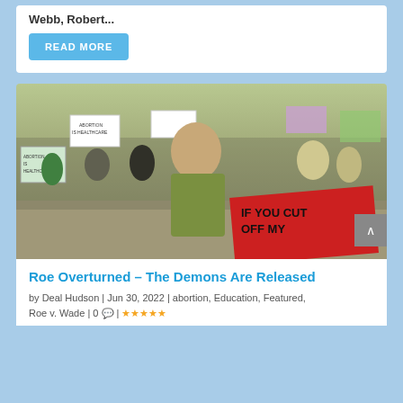Webb, Robert...
READ MORE
[Figure (photo): Protest scene showing a woman in a green shirt screaming, holding a red sign reading 'IF YOU CUT OFF MY' with crowds of protesters holding signs in the background including 'ABORTION IS HEALTHCARE']
Roe Overturned – The Demons Are Released
by Deal Hudson | Jun 30, 2022 | abortion, Education, Featured, Roe v. Wade | 0 💬 | ★★★★★